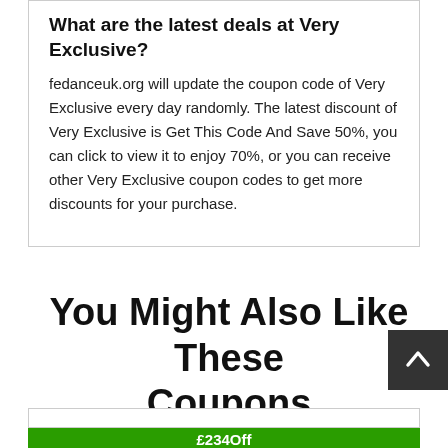What are the latest deals at Very Exclusive?
fedanceuk.org will update the coupon code of Very Exclusive every day randomly. The latest discount of Very Exclusive is Get This Code And Save 50%, you can click to view it to enjoy 70%, or you can receive other Very Exclusive coupon codes to get more discounts for your purchase.
You Might Also Like These Coupons
[Figure (other): Green coupon bar showing £234Off]